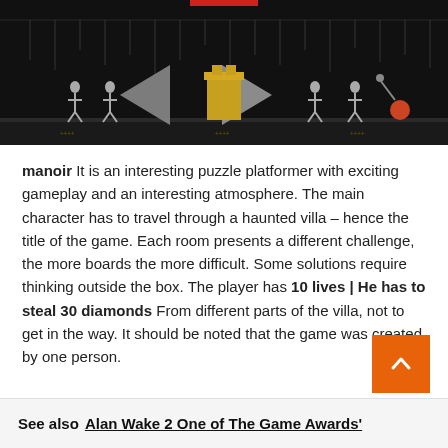[Figure (screenshot): Game screenshot showing a dark haunted manor with skeletal figures, triangle-shaped ghost enemies, a throne in the center, and pixelated characters on a dark background with rain effects]
manoir It is an interesting puzzle platformer with exciting gameplay and an interesting atmosphere. The main character has to travel through a haunted villa – hence the title of the game. Each room presents a different challenge, the more boards the more difficult. Some solutions require thinking outside the box. The player has 10 lives | He has to steal 30 diamonds From different parts of the villa, not to get in the way. It should be noted that the game was created by one person.
See also  Alan Wake 2 One of The Game Awards'